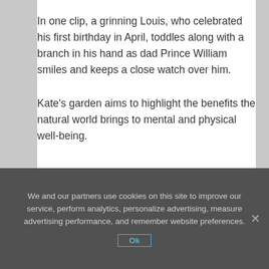In one clip, a grinning Louis, who celebrated his first birthday in April, toddles along with a branch in his hand as dad Prince William smiles and keeps a close watch over him.
Kate's garden aims to highlight the benefits the natural world brings to mental and physical well-being.
We and our partners use cookies on this site to improve our service, perform analytics, personalize advertising, measure advertising performance, and remember website preferences.